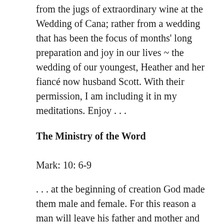from the jugs of extraordinary wine at the Wedding of Cana; rather from a wedding that has been the focus of months' long preparation and joy in our lives ~ the wedding of our youngest, Heather and her fiancé now husband Scott. With their permission, I am including it in my meditations. Enjoy . . .
The Ministry of the Word
Mark: 10: 6–9
. . . at the beginning of creation God made them male and female. For this reason a man will leave his father and mother and be united to